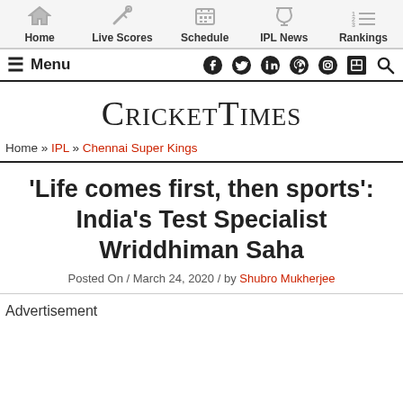Home | Live Scores | Schedule | IPL News | Rankings
Menu | social icons
CricketTimes
Home » IPL » Chennai Super Kings
'Life comes first, then sports': India's Test Specialist Wriddhiman Saha
Posted On / March 24, 2020 / by Shubro Mukherjee
Advertisement